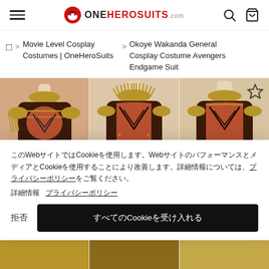OneHeroSuits.com — navigation header with menu, logo, search, and cart icons
Home > Movie Level Cosplay Costumes | OneHeroSuits > Okoye Wakanda General Cosplay Costume Avengers Endgame Suit
[Figure (photo): Three product photos of Okoye Wakanda General Cosplay Costume showing the upper torso armor in red, black and gold colors. Third image has a star/wishlist icon overlay.]
このWebサイトではCookieを使用します。WebサイトのパフォーマンスとメディアとCookieを使用することにより改善します。詳細情報　プライバシーポリシー
拒否　すべてのCookieを受け入れる